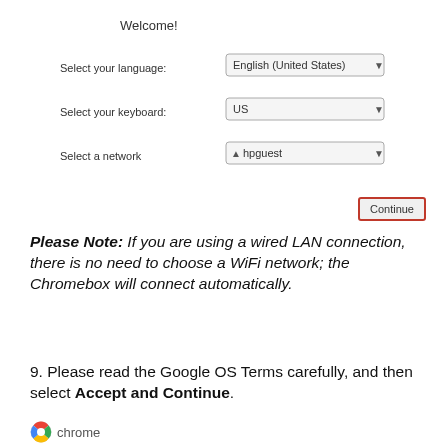Welcome!
[Figure (screenshot): Chrome OS setup screen with dropdowns for language (English United States), keyboard (US), and network (hpguest WiFi), plus a Continue button with orange/red border]
Please Note: If you are using a wired LAN connection, there is no need to choose a WiFi network; the Chromebox will connect automatically.
9. Please read the Google OS Terms carefully, and then select Accept and Continue.
[Figure (logo): Chrome logo circle with text 'chrome']